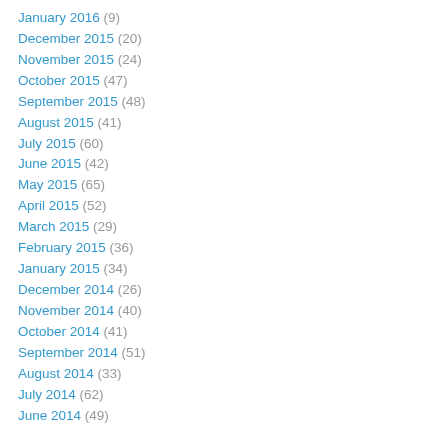January 2016 (9)
December 2015 (20)
November 2015 (24)
October 2015 (47)
September 2015 (48)
August 2015 (41)
July 2015 (60)
June 2015 (42)
May 2015 (65)
April 2015 (52)
March 2015 (29)
February 2015 (36)
January 2015 (34)
December 2014 (26)
November 2014 (40)
October 2014 (41)
September 2014 (51)
August 2014 (33)
July 2014 (62)
June 2014 (49)